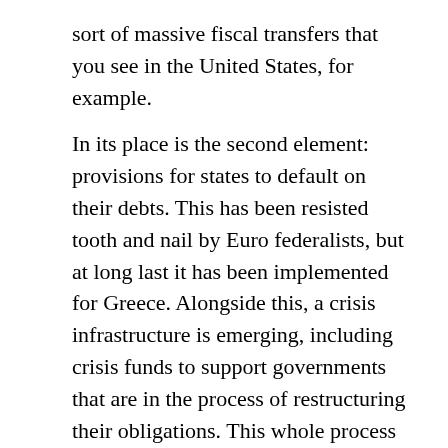sort of massive fiscal transfers that you see in the United States, for example.
In its place is the second element: provisions for states to default on their debts. This has been resisted tooth and nail by Euro federalists, but at long last it has been implemented for Greece. Alongside this, a crisis infrastructure is emerging, including crisis funds to support governments that are in the process of restructuring their obligations. This whole process needs to go further: publicly held government debt, e.g. that bought by the ECB, needs to be included, for example. Greece will surely need another restructure. But we are seeing the different nations' bond prices reflecting the risk of default, and this imposes a discipline on government finances. And no government will want to follow the humiliating path of Greece into default, if they can help it.